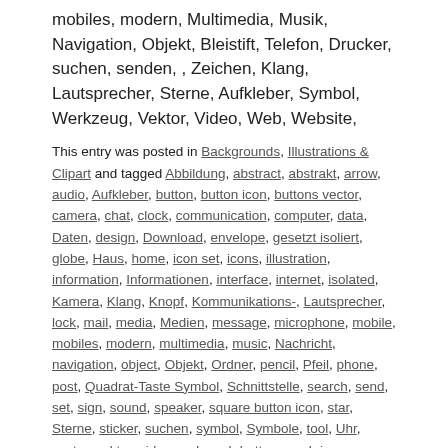mobiles, modern, Multimedia, Musik, Navigation, Objekt, Bleistift, Telefon, Drucker, suchen, senden, , Zeichen, Klang, Lautsprecher, Sterne, Aufkleber, Symbol, Werkzeug, Vektor, Video, Web, Website,
This entry was posted in Backgrounds, Illustrations & Clipart and tagged Abbildung, abstract, abstrakt, arrow, audio, Aufkleber, button, button icon, buttons vector, camera, chat, clock, communication, computer, data, Daten, design, Download, envelope, gesetzt isoliert, globe, Haus, home, icon set, icons, illustration, information, Informationen, interface, internet, isolated, Kamera, Klang, Knopf, Kommunikations-, Lautsprecher, lock, mail, media, Medien, message, microphone, mobile, mobiles, modern, multimedia, music, Nachricht, navigation, object, Objekt, Ordner, pencil, Pfeil, phone, post, Quadrat-Taste Symbol, Schnittstelle, search, send, set, sign, sound, speaker, square button icon, star, Sterne, sticker, suchen, symbol, Symbole, tool, Uhr, vector, vektor, video, web, web buttons, web icons, website, Werkzeug, Zeichen on July 3, 2013.